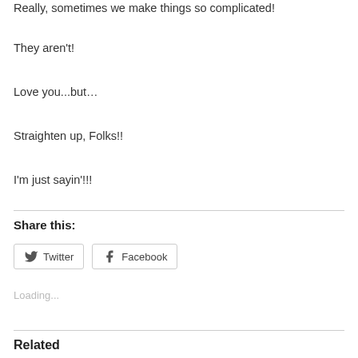Really, sometimes we make things so complicated!
They aren't!
Love you...but…
Straighten up, Folks!!
I'm just sayin'!!!
Share this:
Twitter  Facebook
Loading...
Related